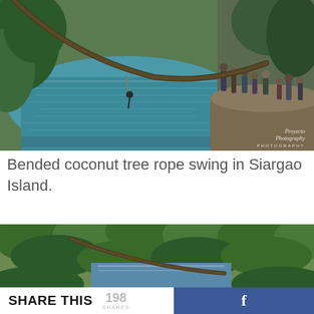[Figure (photo): Aerial/elevated view of a bended coconut tree used as a rope swing over a blue-green river or lagoon in Siargao Island, Philippines. People gathered on a rocky ledge on the right side. Tropical foliage surrounds the water. Watermark reads 'Proyecto Photography' at bottom right.]
Bended coconut tree rope swing in Siargao Island.
[Figure (photo): Aerial view of a tropical river or lagoon surrounded by dense palm trees and lush green canopy, likely in Siargao Island, Philippines.]
SHARE THIS 198 SHARES